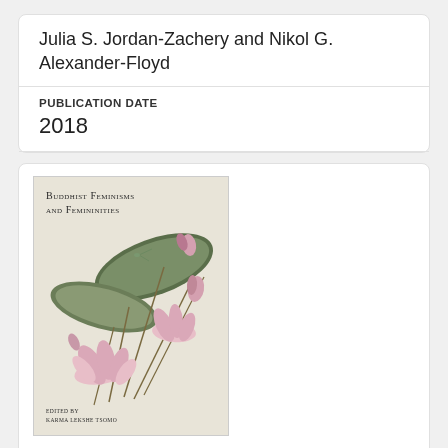Julia S. Jordan-Zachery and Nikol G. Alexander-Floyd
PUBLICATION DATE
2018
[Figure (photo): Book cover of 'Buddhist Feminisms and Femininities' edited by Karma Lekshe Tsomo, featuring lotus flowers in a traditional East Asian painting style on a light background.]